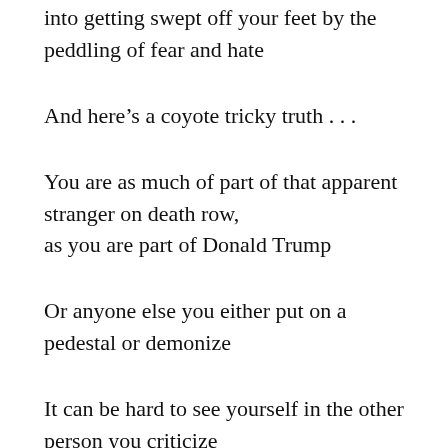into getting swept off your feet by the peddling of fear and hate
And here’s a coyote tricky truth . . .
You are as much of part of that apparent stranger on death row,
as you are part of Donald Trump
Or anyone else you either put on a pedestal or demonize
It can be hard to see yourself in the other person you criticize